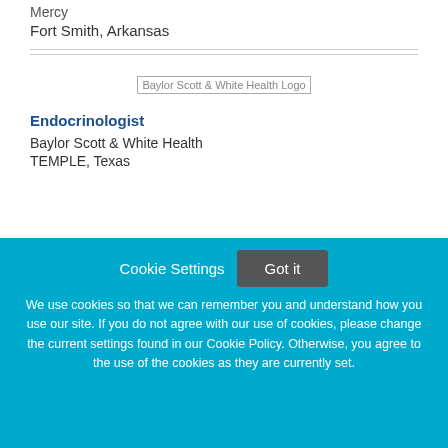Mercy
Fort Smith, Arkansas
[Figure (logo): Baylor Scott & White Health Logo]
Endocrinologist
Baylor Scott & White Health
TEMPLE, Texas
Cookie Settings
Got it
We use cookies so that we can remember you and understand how you use our site. If you do not agree with our use of cookies, please change the current settings found in our Cookie Policy. Otherwise, you agree to the use of the cookies as they are currently set.